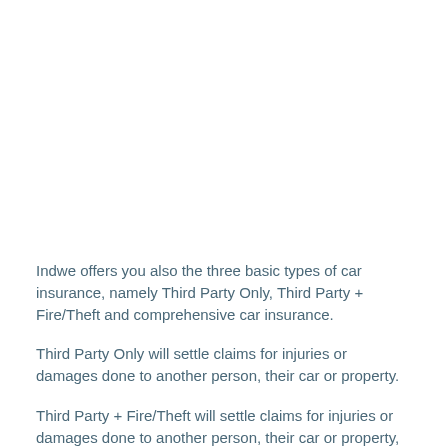Indwe offers you also the three basic types of car insurance, namely Third Party Only, Third Party + Fire/Theft and comprehensive car insurance.
Third Party Only will settle claims for injuries or damages done to another person, their car or property.
Third Party + Fire/Theft will settle claims for injuries or damages done to another person, their car or property, as well as coverage for your motor in the event of fire or